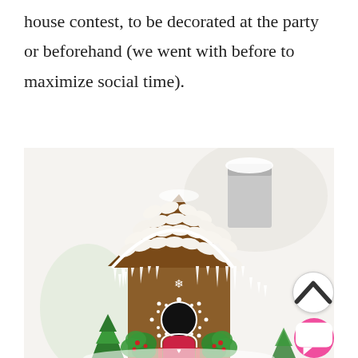house contest, to be decorated at the party or beforehand (we went with before to maximize social time).
[Figure (photo): A decorated gingerbread house with white icing roof, red door with heart, green wreath decorations, candy-covered roof tiles, icicle icing, and a chimney. Small green Christmas trees visible in foreground.]